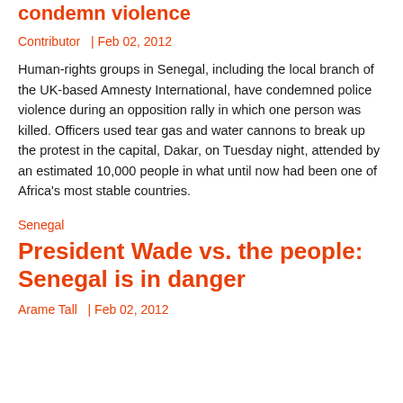condemn violence
Contributor  | Feb 02, 2012
Human-rights groups in Senegal, including the local branch of the UK-based Amnesty International, have condemned police violence during an opposition rally in which one person was killed. Officers used tear gas and water cannons to break up the protest in the capital, Dakar, on Tuesday night, attended by an estimated 10,000 people in what until now had been one of Africa's most stable countries.
Senegal
President Wade vs. the people: Senegal is in danger
Arame Tall  | Feb 02, 2012